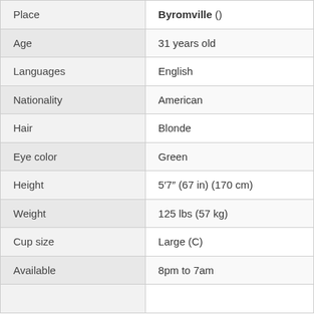| Attribute | Value |
| --- | --- |
| Place | Byromville () |
| Age | 31 years old |
| Languages | English |
| Nationality | American |
| Hair | Blonde |
| Eye color | Green |
| Height | 5′7″ (67 in) (170 cm) |
| Weight | 125 lbs (57 kg) |
| Cup size | Large (C) |
| Available | 8pm to 7am |